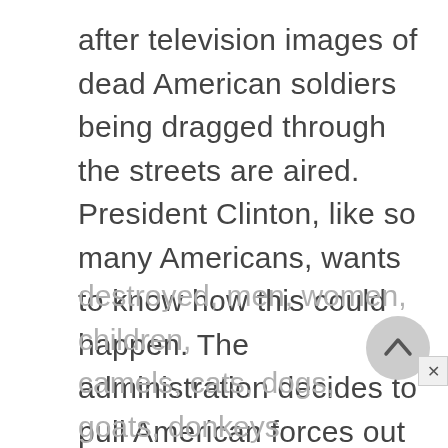after television images of dead American soldiers being dragged through the streets are aired. President Clinton, like so many Americans, wants to know how this could happen. The administration decides to pull American forces out of Somalia. As for Durant, a U.S. emissary sends a chilling message to Aidid. If Durant is not released within a few weeks, Mogadishu "will be destroyed, men, women, children, camels, cats, dogs, goats, donkeys